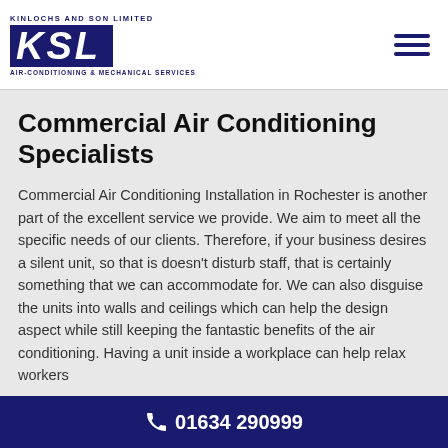[Figure (logo): KSL logo — Kinlochs and Son Limited, Air-Conditioning & Mechanical Services, navy blue logo with KSL letters in white on dark blue background]
Commercial Air Conditioning Specialists
Commercial Air Conditioning Installation in Rochester is another part of the excellent service we provide. We aim to meet all the specific needs of our clients. Therefore, if your business desires a silent unit, so that is doesn't disturb staff, that is certainly something that we can accommodate for. We can also disguise the units into walls and ceilings which can help the design aspect while still keeping the fantastic benefits of the air conditioning. Having a unit inside a workplace can help relax workers
01634 290999